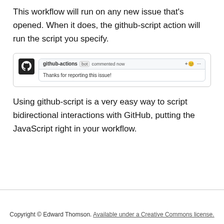This workflow will run on any new issue that's opened. When it does, the github-script action will run the script you specify.
[Figure (screenshot): GitHub comment screenshot showing github-actions bot commenting 'Thanks for reporting this issue!']
Using github-script is a very easy way to script bidirectional interactions with GitHub, putting the JavaScript right in your workflow.
Copyright © Edward Thomson. Available under a Creative Commons license.